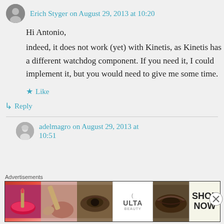Erich Styger on August 29, 2013 at 10:20
Hi Antonio,
indeed, it does not work (yet) with Kinetis, as Kinetis has a different watchdog component. If you need it, I could implement it, but you would need to give me some time.
★ Like
↳ Reply
adelmagro on August 29, 2013 at 10:51
Advertisements
[Figure (photo): ULTA beauty advertisement banner showing makeup/cosmetics imagery with 'SHOP NOW' text]